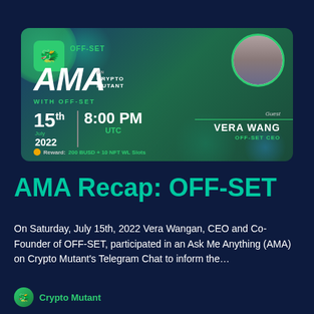[Figure (infographic): AMA banner for OFF-SET event on Crypto Mutant. Shows date 15th July 2022 at 8:00 PM UTC, guest Vera Wang OFF-SET CEO, reward 200 BUSD + 10 NFT WL Slots. Green and dark blue gradient background with monster mascot icon.]
AMA Recap: OFF-SET
On Saturday, July 15th, 2022 Vera Wangan, CEO and Co-Founder of OFF-SET, participated in an Ask Me Anything (AMA) on Crypto Mutant’s Telegram Chat to inform the…
Crypto Mutant